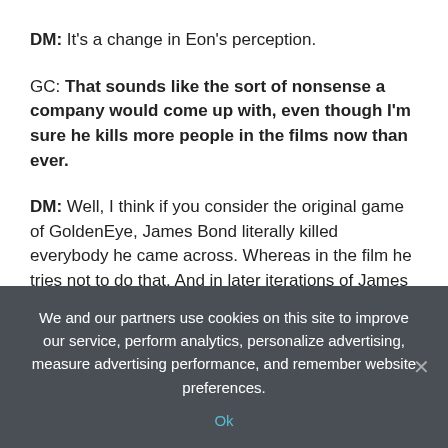DM: It's a change in Eon's perception.
GC: That sounds like the sort of nonsense a company would come up with, even though I'm sure he kills more people in the films now than ever.
DM: Well, I think if you consider the original game of GoldenEye, James Bond literally killed everybody he came across. Whereas in the film he tries not to do that. And in later iterations of James Bond, he doesn't necessarily kill an entire room of people with a sniper rifle, but in the game you're encouraged to do that. You know…. the sniper rifle or the golden gun was the most fun thing. So you're
We and our partners use cookies on this site to improve our service, perform analytics, personalize advertising, measure advertising performance, and remember website preferences.
Ok